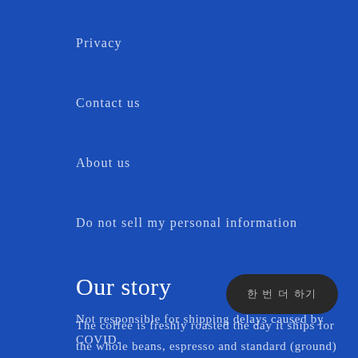Privacy
Contact us
About us
Do not sell my personal information
Our story
The coffee is freshly roasted the day it ships for the whole beans, espresso and standard (ground) are roasted the day before they are shipped. From the time of roasting to time of delivery may take up to 7 days, bags and other swag it may take up to 10 days t
Not responsible for shipping delays caused by COVID.